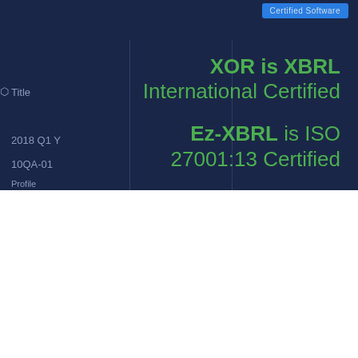Certified Software
Title
2018 Q1 Y
10QA-01
XOR is XBRL International Certified
Ez-XBRL is ISO 27001:13 Certified
We use cookies on our website to give you the most relevant experience by remembering your preferences and repeat visits. By clicking "Accept All", you consent to the use of ALL the cookies. However, you may visit "Cookie Settings" to provide a controlled consent.
Cookie Settings
Accept All